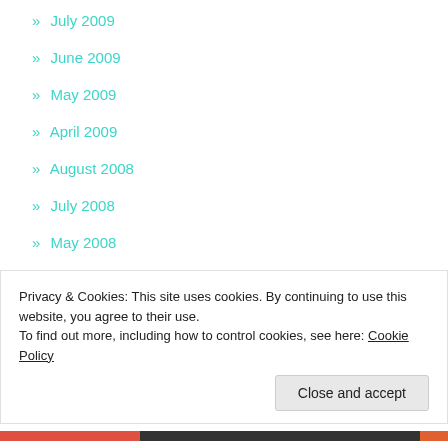» July 2009
» June 2009
» May 2009
» April 2009
» August 2008
» July 2008
» May 2008
» April 2008
RECENT COMMENTS
Privacy & Cookies: This site uses cookies. By continuing to use this website, you agree to their use.
To find out more, including how to control cookies, see here: Cookie Policy
Close and accept